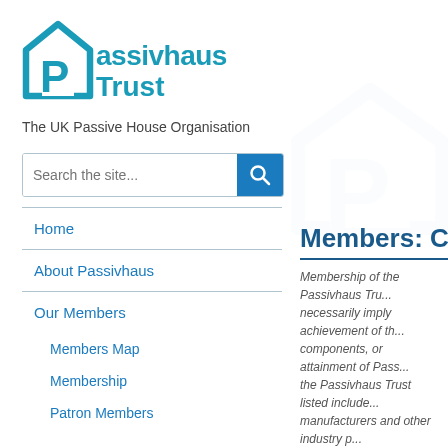[Figure (logo): Passivhaus Trust logo: house/P icon in teal blue, with 'Passivhaus Trust' text beside it]
The UK Passive House Organisation
[Figure (screenshot): Search bar with placeholder 'Search the site...' and a blue search button with magnifier icon]
Home
About Passivhaus
Our Members
Members Map
Membership
Patron Members
Members: Compo
Membership of the Passivhaus Tru... necessarily imply achievement of th... components, or attainment of Pass... the Passivhaus Trust listed include... manufacturers and other industry p...